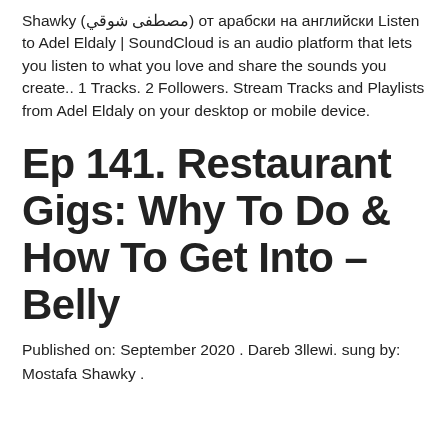Shawky (مصطفى شوقي) от арабски на английски Listen to Adel Eldaly | SoundCloud is an audio platform that lets you listen to what you love and share the sounds you create.. 1 Tracks. 2 Followers. Stream Tracks and Playlists from Adel Eldaly on your desktop or mobile device.
Ep 141. Restaurant Gigs: Why To Do & How To Get Into – Belly
Published on: September 2020 . Dareb 3llewi. sung by: Mostafa Shawky .